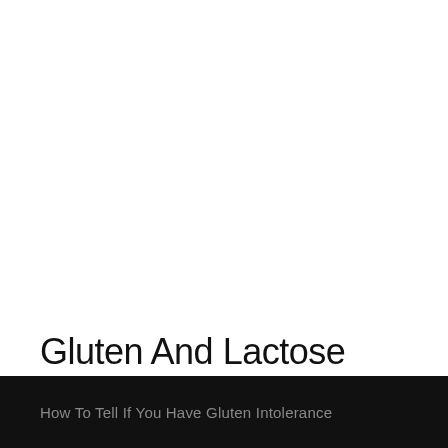Gluten And Lactose Intolerance
How To Tell If You Have Gluten Intolerance